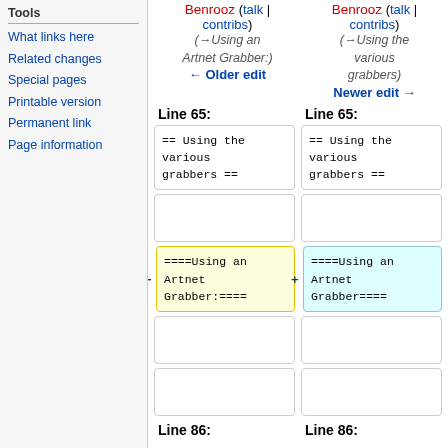Tools
What links here
Related changes
Special pages
Printable version
Permanent link
Page information
Benrooz (talk | contribs) (→Using an Artnet Grabber:) ← Older edit
Benrooz (talk | contribs) (→Using the various grabbers) Newer edit →
Line 65:
Line 65:
== Using the various grabbers ==
== Using the various grabbers ==
====Using an Artnet Grabber:====
====Using an Artnet Grabber====
Line 86:
Line 86: